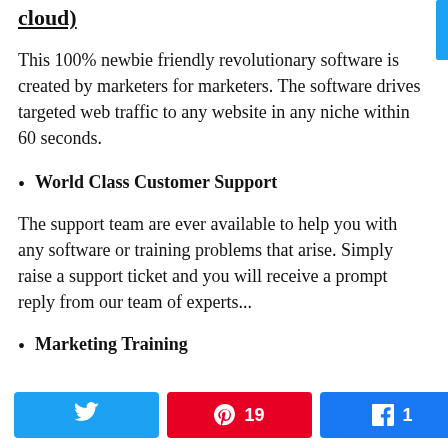cloud)
This 100% newbie friendly revolutionary software is created by marketers for marketers. The software drives targeted web traffic to any website in any niche within 60 seconds.
World Class Customer Support
The support team are ever available to help you with any software or training problems that arise. Simply raise a support ticket and you will receive a prompt reply from our team of experts...
Marketing Training